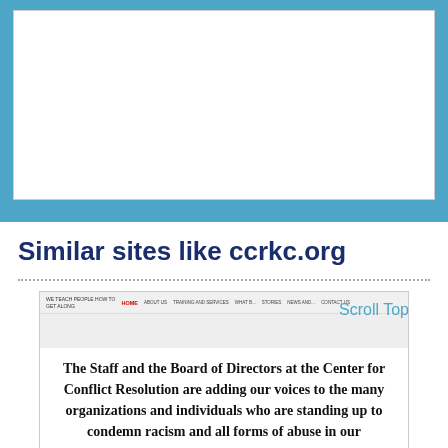[Figure (screenshot): Empty white box area at top, representing a website screenshot placeholder]
Similar sites like ccrkc.org
[Figure (screenshot): Screenshot of ccrkc.org website showing navigation bar with links: HOME, ABOUT US, TRAINING AND SERVICES, WHAT B..., STORIES, NEWS AND..., CONTACT US, and body text: The Staff and the Board of Directors at the Center for Conflict Resolution are adding our voices to the many organizations and individuals who are standing up to condemn racism and all forms of abuse in our]
Scroll Top